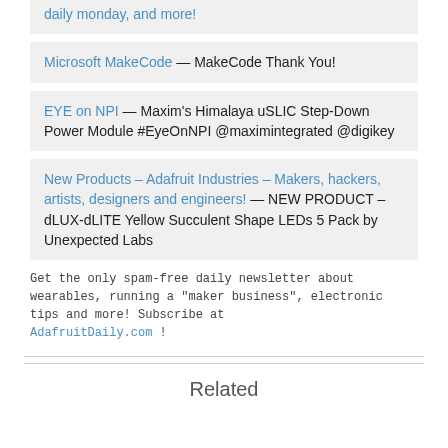Microsoft MakeCode — MakeCode Thank You!
EYE on NPI — Maxim's Himalaya uSLIC Step-Down Power Module #EyeOnNPI @maximintegrated @digikey
New Products – Adafruit Industries – Makers, hackers, artists, designers and engineers! — NEW PRODUCT – dLUX-dLITE Yellow Succulent Shape LEDs 5 Pack by Unexpected Labs
Get the only spam-free daily newsletter about wearables, running a "maker business", electronic tips and more! Subscribe at AdafruitDaily.com !
Related